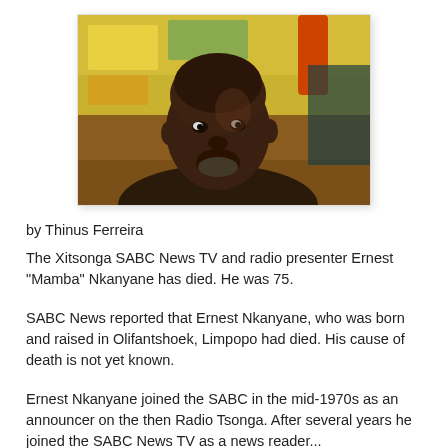[Figure (photo): Close-up photo of an older Black man, Ernest Nkanyane, in a restaurant or indoor setting with colorful background items visible behind him.]
by Thinus Ferreira
The Xitsonga SABC News TV and radio presenter Ernest "Mamba" Nkanyane has died. He was 75.
SABC News reported that Ernest Nkanyane, who was born and raised in Olifantshoek, Limpopo had died. His cause of death is not yet known.
Ernest Nkanyane joined the SABC in the mid-1970s as an announcer on the then Radio Tsonga. After several years he joined the SABC News TV as a news reader...